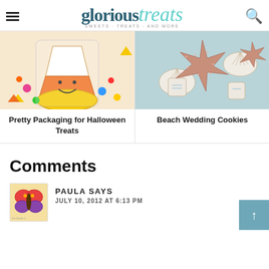glorioustreats — SWEETS · TREATS · AND MORE
[Figure (photo): Candy corn shaped decorated cookie with smiley face in a treat bag surrounded by colorful candies]
Pretty Packaging for Halloween Treats
[Figure (photo): Beach themed sugar cookies shaped like starfish and seashells on a light blue plate]
Beach Wedding Cookies
Comments
[Figure (photo): Small avatar photo of a butterfly decorated cookie with red, orange and purple colors, labeled The Vanilla T...]
PAULA SAYS
JULY 10, 2012 AT 6:13 PM